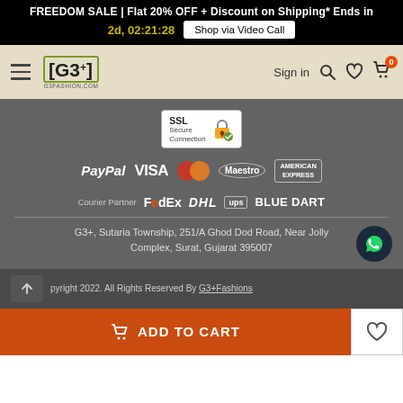FREEDOM SALE | Flat 20% OFF + Discount on Shipping* Ends in 2d, 02:21:28  Shop via Video Call
[Figure (logo): G3+ Fashions navigation bar with hamburger menu, G3+ logo, Sign in, search, wishlist, and cart icons]
[Figure (logo): SSL Secure Connection badge]
[Figure (logo): Payment partner logos: PayPal, VISA, Mastercard, Maestro, American Express]
[Figure (logo): Courier Partner logos: FedEx, DHL, UPS, Blue Dart]
G3+, Sutaria Township, 251/A Ghod Dod Road, Near Jolly Complex, Surat, Gujarat 395007
Copyright 2022. All Rights Reserved By G3+Fashions
[Figure (other): ADD TO CART button and wishlist heart button at bottom]